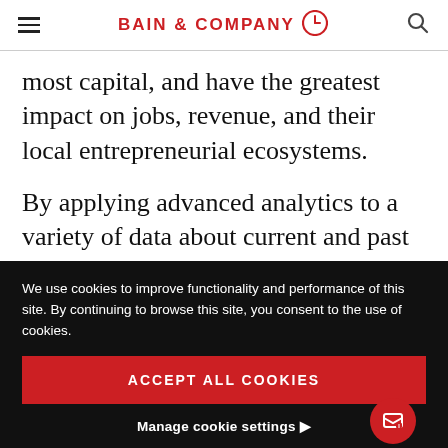BAIN & COMPANY
most capital, and have the greatest impact on jobs, revenue, and their local entrepreneurial ecosystems.
By applying advanced analytics to a variety of data about current and past Endeavor entrepreneurs, Bain helped Endeavor better
We use cookies to improve functionality and performance of this site. By continuing to browse this site, you consent to the use of cookies.
ACCEPT ALL COOKIES
Manage cookie settings ▶